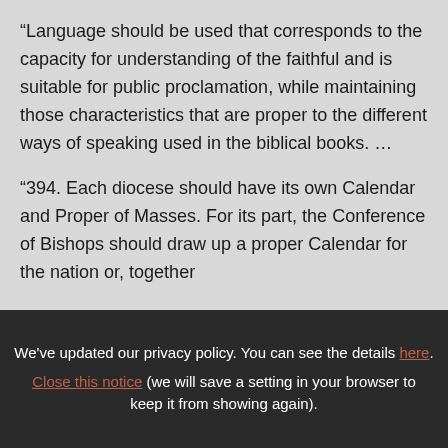“Language should be used that corresponds to the capacity for understanding of the faithful and is suitable for public proclamation, while maintaining those characteristics that are proper to the different ways of speaking used in the biblical books. …
“394. Each diocese should have its own Calendar and Proper of Masses. For its part, the Conference of Bishops should draw up a proper Calendar for the nation or, together
We've updated our privacy policy. You can see the details here. Close this notice (we will save a setting in your browser to keep it from showing again).